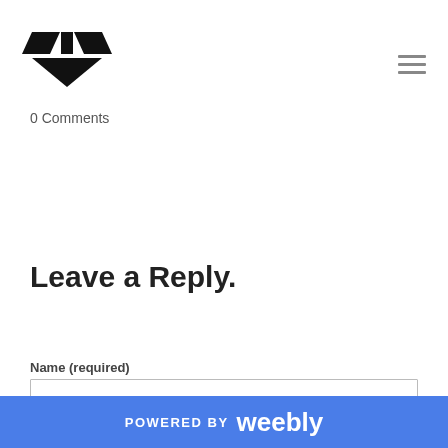Logo and navigation hamburger menu
0 Comments
Leave a Reply.
Name (required)
Email (not published)
POWERED BY weebly